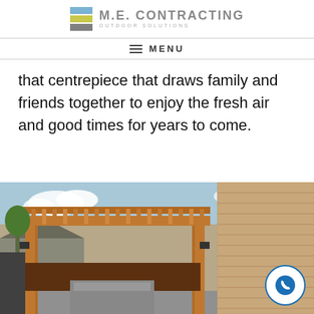[Figure (logo): M.E. Contracting Outdoor Solutions logo with colored blocks (blue, yellow, gray) and company name text]
MENU
that centrepiece that draws family and friends together to enjoy the fresh air and good times for years to come.
[Figure (photo): Outdoor wooden pergola structure with slat roof attached to brick house, showing an outdoor kitchen area below]